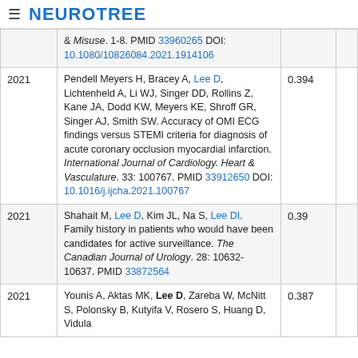≡ NEUROTREE
| Year | Reference | Score |  |
| --- | --- | --- | --- |
|  | & Misuse. 1-8. PMID 33960265 DOI: 10.1080/10826084.2021.1914106 |  |  |
| 2021 | Pendell Meyers H, Bracey A, Lee D, Lichtenheld A, Li WJ, Singer DD, Rollins Z, Kane JA, Dodd KW, Meyers KE, Shroff GR, Singer AJ, Smith SW. Accuracy of OMI ECG findings versus STEMI criteria for diagnosis of acute coronary occlusion myocardial infarction. International Journal of Cardiology. Heart & Vasculature. 33: 100767. PMID 33912650 DOI: 10.1016/j.ijcha.2021.100767 | 0.394 |  |
| 2021 | Shahait M, Lee D, Kim JL, Na S, Lee DI. Family history in patients who would have been candidates for active surveillance. The Canadian Journal of Urology. 28: 10632-10637. PMID 33872564 | 0.39 |  |
| 2021 | Younis A, Aktas MK, Lee D, Zareba W, McNitt S, Polonsky B, Kutyifa V, Rosero S, Huang D, Vidula | 0.387 |  |